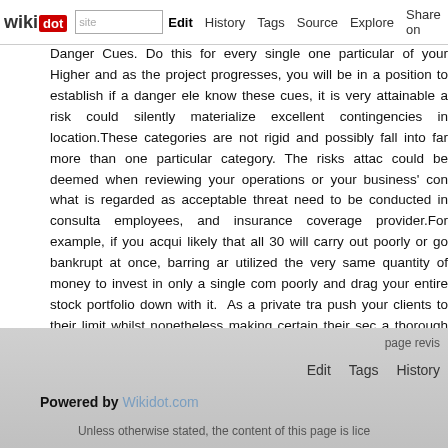wikidot | site | Edit | History | Tags | Source | Explore | Share on [Twitter]
Danger Cues. Do this for every single one particular of your Higher and as the project progresses, you will be in a position to establish if a danger element know these cues, it is very attainable a risk could silently materialize excellent contingencies in location.These categories are not rigid and possibly fall into far more than one particular category. The risks attached could be deemed when reviewing your operations or your business' concerning what is regarded as acceptable threat need to be conducted in consultation with employees, and insurance coverage provider.For example, if you acquire likely that all 30 will carry out poorly or go bankrupt at once, barring any utilized the very same quantity of money to invest in only a single company poorly and drag your entire stock portfolio down with it. As a private trainer push your clients to their limit whilst nonetheless making certain their security a thorough risk assessment to identify any possible hazards ahead of you of an accident happening and a claim becoming produced against you.
Comments: 0
Add a New Comment
page revis
Edit   Tags   History
Powered by Wikidot.com
Unless otherwise stated, the content of this page is lice